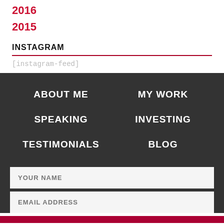2016
2015
INSTAGRAM
[instagram-feed]
ABOUT ME
MY WORK
SPEAKING
INVESTING
TESTIMONIALS
BLOG
YOUR NAME
EMAIL ADDRESS